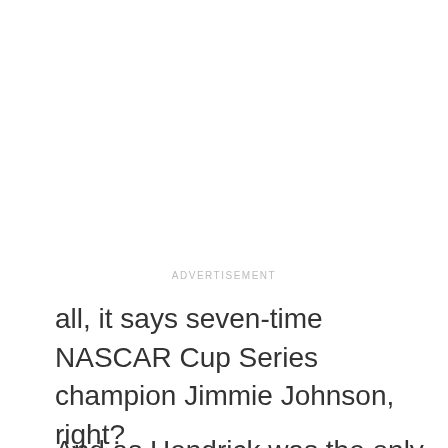ADVERTISEMENT
all, it says seven-time NASCAR Cup Series champion Jimmie Johnson, right?
And as Hendrick was the only team for whom Johnson drove during his 20-year Cup Series career, he obviously won all seven of those titles for the series' all-time leader in victories. Johnson, of course, is one of the main reasons why Hendrick owns that record, as he contributed 83 of them in the No. 48 Chevrolet,